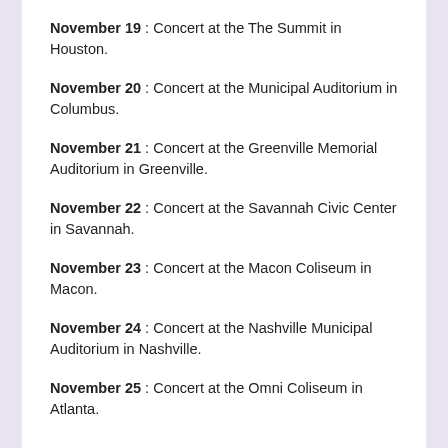November 19 : Concert at the The Summit in Houston.
November 20 : Concert at the Municipal Auditorium in Columbus.
November 21 : Concert at the Greenville Memorial Auditorium in Greenville.
November 22 : Concert at the Savannah Civic Center in Savannah.
November 23 : Concert at the Macon Coliseum in Macon.
November 24 : Concert at the Nashville Municipal Auditorium in Nashville.
November 25 : Concert at the Omni Coliseum in Atlanta.